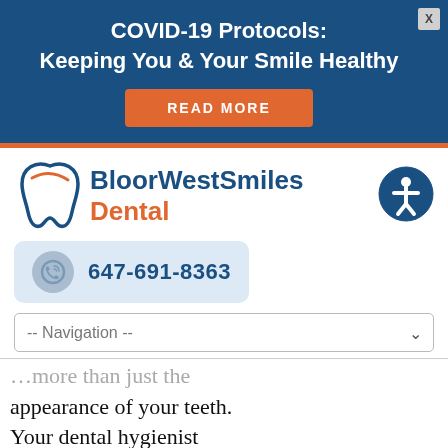COVID-19 Protocols: Keeping You & Your Smile Healthy
READ MORE
[Figure (logo): BloorWestSmiles Dental logo with tooth icon in blue and orange]
647-691-8363
-- Navigation --
...more than just the appearance of your teeth. Your dental hygienist probably reminds you all the time to brush and floss so that your teeth stay pearly white, but these healthy habits can actually